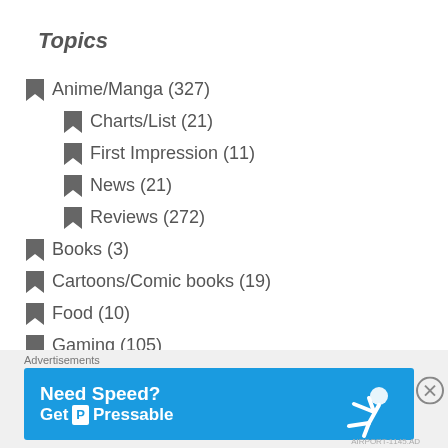Topics
Anime/Manga (327)
Charts/List (21)
First Impression (11)
News (21)
Reviews (272)
Books (3)
Cartoons/Comic books (19)
Food (10)
Gaming (105)
Events (14)
News (42)
[Figure (infographic): Advertisement banner: Need Speed? Get Pressable, blue background with person flying]